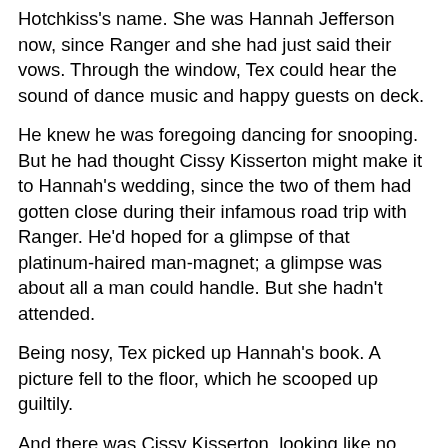Hotchkiss's name. She was Hannah Jefferson now, since Ranger and she had just said their vows. Through the window, Tex could hear the sound of dance music and happy guests on deck.
He knew he was foregoing dancing for snooping. But he had thought Cissy Kisserton might make it to Hannah's wedding, since the two of them had gotten close during their infamous road trip with Ranger. He'd hoped for a glimpse of that platinum-haired man-magnet; a glimpse was about all a man could handle. But she hadn't attended.
Being nosy, Tex picked up Hannah's book. A picture fell to the floor, which he scooped up guiltily.
And there was Cissy Kisserton, looking like no Cissy he'd ever seen. She wasn't dressed in a mini-skirt and high heels. She wasn't wreaking havoc on a man's groin by wearing catsuit jeans.
This Cissy was dressed for church.
Whew. She was a wicked brew of sin underneath that churchy